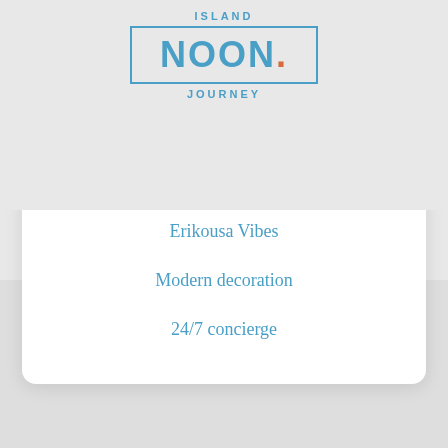ISLAND NOON. JOURNEY
Erikousa Vibes
Modern decoration
24/7 concierge
Leave it to us